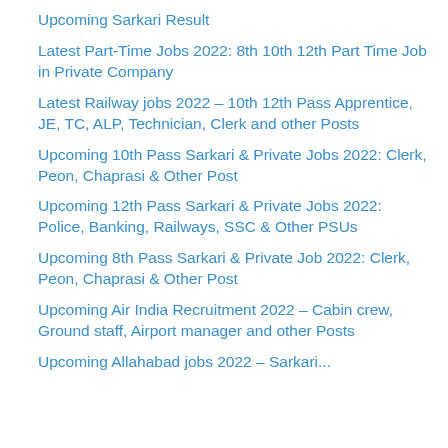Upcoming Sarkari Result
Latest Part-Time Jobs 2022: 8th 10th 12th Part Time Job in Private Company
Latest Railway jobs 2022 – 10th 12th Pass Apprentice, JE, TC, ALP, Technician, Clerk and other Posts
Upcoming 10th Pass Sarkari & Private Jobs 2022: Clerk, Peon, Chaprasi & Other Post
Upcoming 12th Pass Sarkari & Private Jobs 2022: Police, Banking, Railways, SSC & Other PSUs
Upcoming 8th Pass Sarkari & Private Job 2022: Clerk, Peon, Chaprasi & Other Post
Upcoming Air India Recruitment 2022 – Cabin crew, Ground staff, Airport manager and other Posts
Upcoming Allahabad jobs 2022 – Sarkari...